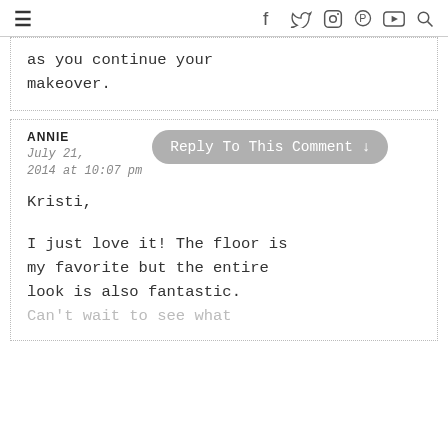≡  f  𝕿  ⊙  ⊗  ▶  🔍
as you continue your makeover.
ANNIE
July 21, 2014 at 10:07 pm
Reply To This Comment ↓
Kristi,

I just love it! The floor is my favorite but the entire look is also fantastic.
Can't wait to see what